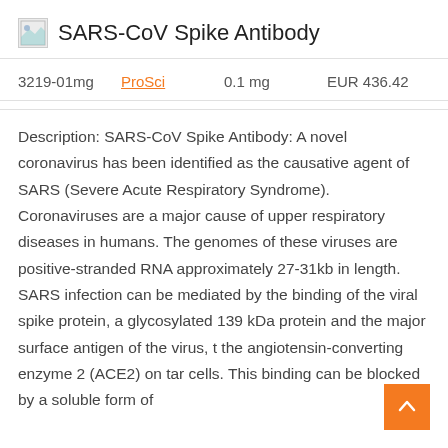SARS-CoV Spike Antibody
| 3219-01mg | ProSci | 0.1 mg | EUR 436.42 |
Description: SARS-CoV Spike Antibody: A novel coronavirus has been identified as the causative agent of SARS (Severe Acute Respiratory Syndrome). Coronaviruses are a major cause of upper respiratory diseases in humans. The genomes of these viruses are positive-stranded RNA approximately 27-31kb in length. SARS infection can be mediated by the binding of the viral spike protein, a glycosylated 139 kDa protein and the major surface antigen of the virus, to the angiotensin-converting enzyme 2 (ACE2) on target cells. This binding can be blocked by a soluble form of